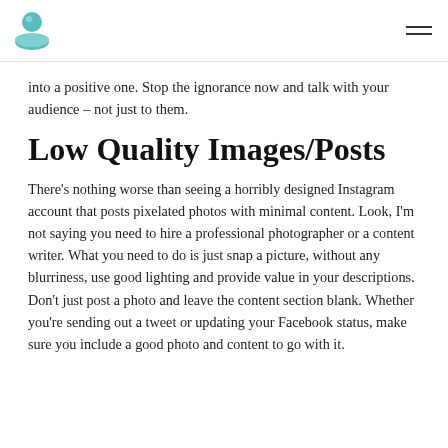[Logo] [Hamburger menu]
into a positive one. Stop the ignorance now and talk with your audience – not just to them.
Low Quality Images/Posts
There's nothing worse than seeing a horribly designed Instagram account that posts pixelated photos with minimal content. Look, I'm not saying you need to hire a professional photographer or a content writer. What you need to do is just snap a picture, without any blurriness, use good lighting and provide value in your descriptions. Don't just post a photo and leave the content section blank. Whether you're sending out a tweet or updating your Facebook status, make sure you include a good photo and content to go with it.